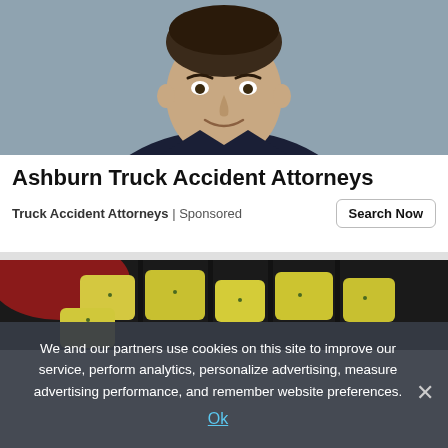[Figure (photo): Professional headshot of a man in a dark suit with a white shirt, smiling slightly, on a light gray background]
Ashburn Truck Accident Attorneys
Truck Accident Attorneys | Sponsored
[Figure (photo): Close-up photo of yellow/green cubed food (possibly pineapple or potatoes with herbs) in a dark bowl or pan]
We and our partners use cookies on this site to improve our service, perform analytics, personalize advertising, measure advertising performance, and remember website preferences.